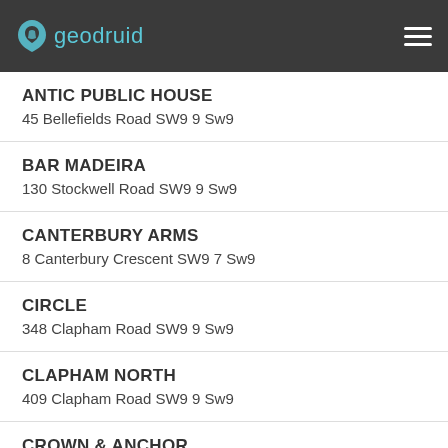geodruid
ANTIC PUBLIC HOUSE
45 Bellefields Road SW9 9 Sw9
BAR MADEIRA
130 Stockwell Road SW9 9 Sw9
CANTERBURY ARMS
8 Canterbury Crescent SW9 7 Sw9
CIRCLE
348 Clapham Road SW9 9 Sw9
CLAPHAM NORTH
409 Clapham Road SW9 9 Sw9
CROWN & ANCHOR
246 Brixton Road SW9 6 Sw9
DOGSTAR
389 Coldharbour Lane SW9 8 Sw9